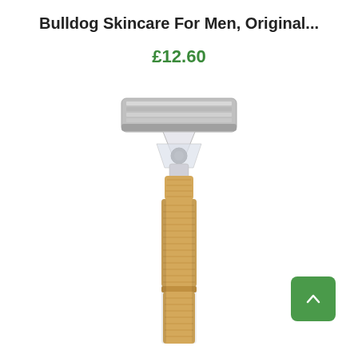Bulldog Skincare For Men, Original...
£12.60
[Figure (photo): A Bulldog Skincare bamboo razor with a silver multi-blade head on a light wood/bamboo handle, photographed on a white background. The razor is shown vertically with the blade head at top.]